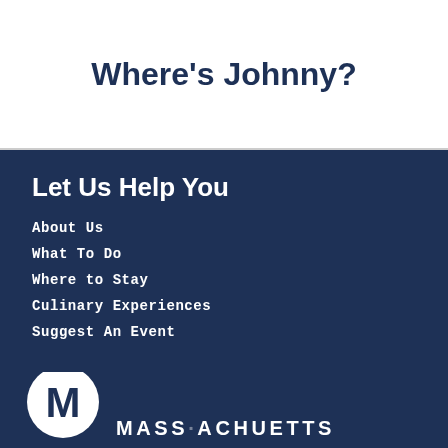Where's Johnny?
Let Us Help You
About Us
What To Do
Where to Stay
Culinary Experiences
Suggest An Event
[Figure (logo): Massachusetts state tourism logo with large M icon and MASSACHUSETTS text]